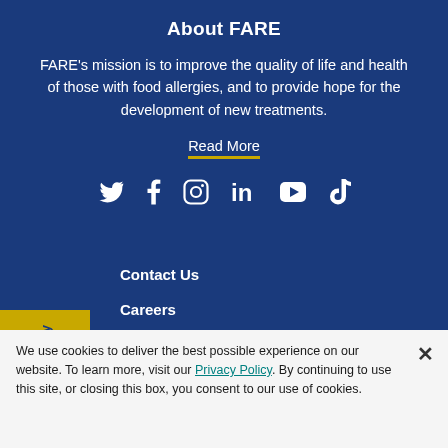About FARE
FARE's mission is to improve the quality of life and health of those with food allergies, and to provide hope for the development of new treatments.
Read More
[Figure (infographic): Social media icons: Twitter, Facebook, Instagram, LinkedIn, YouTube, TikTok]
Contact Us
Careers
We use cookies to deliver the best possible experience on our website. To learn more, visit our Privacy Policy. By continuing to use this site, or closing this box, you consent to our use of cookies.